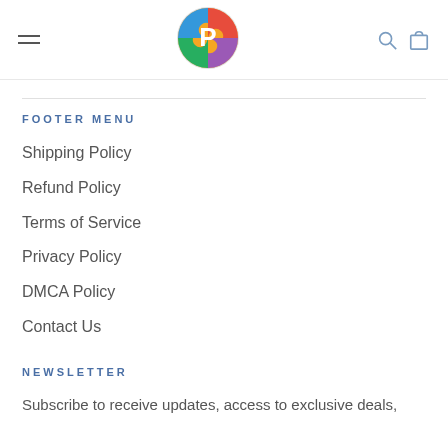FOOTER MENU
Shipping Policy
Refund Policy
Terms of Service
Privacy Policy
DMCA Policy
Contact Us
NEWSLETTER
Subscribe to receive updates, access to exclusive deals,